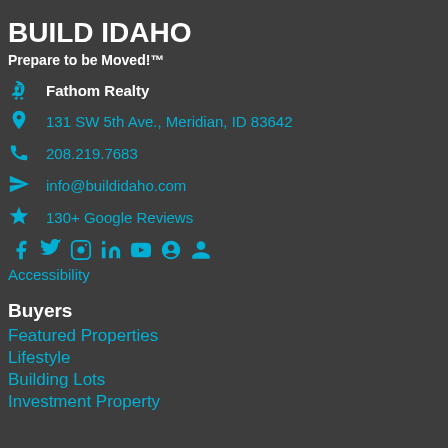BUILD IDAHO
Prepare to be Moved!™
Fathom Realty
131 SW 5th Ave., Meridian, ID 83642
208.219.7683
info@buildidaho.com
130+ Google Reviews
Social media icons: Facebook, Twitter, Instagram, LinkedIn, YouTube, Google+, Person
Accessibility
Buyers
Featured Properties
Lifestyle
Building Lots
Investment Property